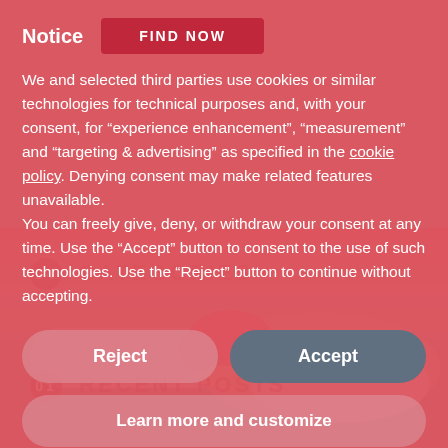[Figure (screenshot): Cookie consent notice overlay on a website showing a woman sleeping in the background. The overlay has a pink/red semi-transparent background with a 'Notice' header, a 'FIND NOW' button, cookie policy text, and Reject/Accept/Learn more buttons.]
Notice
We and selected third parties use cookies or similar technologies for technical purposes and, with your consent, for “experience enhancement”, “measurement” and “targeting & advertising” as specified in the cookie policy. Denying consent may make related features unavailable.
You can freely give, deny, or withdraw your consent at any time. Use the “Accept” button to consent to the use of such technologies. Use the “Reject” button to continue without accepting.
Reject
Accept
Learn more and customize